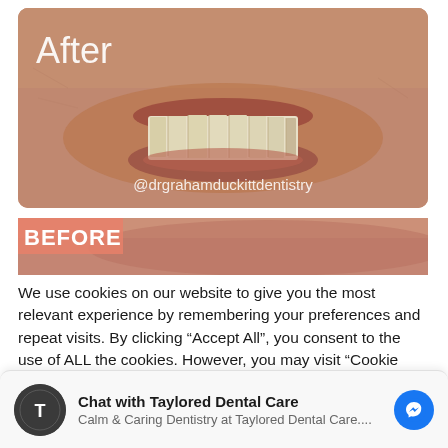[Figure (photo): After photo: close-up of a person's smile showing teeth, with text 'After' in white in the upper left and '@drgrahamduckittdentistry' watermark in white text at the bottom center. Dental before/after comparison photo.]
[Figure (photo): Before photo: close-up of a person's mouth area, cropped, with 'BEFORE' label in white text on an orange/salmon background strip on the left side.]
We use cookies on our website to give you the most relevant experience by remembering your preferences and repeat visits. By clicking “Accept All”, you consent to the use of ALL the cookies. However, you may visit "Cookie Settings" to provide a controlled consent.
Chat with Taylored Dental Care
Calm & Caring Dentistry at Taylored Dental Care....